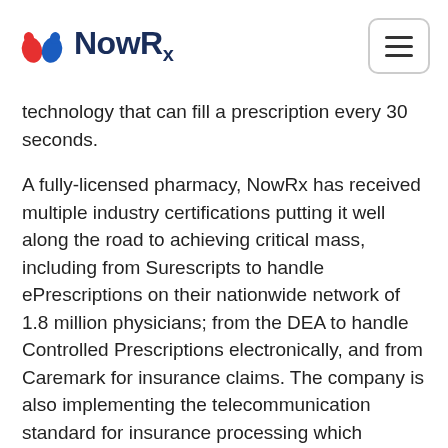NowRx
technology that can fill a prescription every 30 seconds.
A fully-licensed pharmacy, NowRx has received multiple industry certifications putting it well along the road to achieving critical mass, including from Surescripts to handle ePrescriptions on their nationwide network of 1.8 million physicians; from the DEA to handle Controlled Prescriptions electronically, and from Caremark for insurance claims. The company is also implementing the telecommunication standard for insurance processing which enables NowRx to handle all